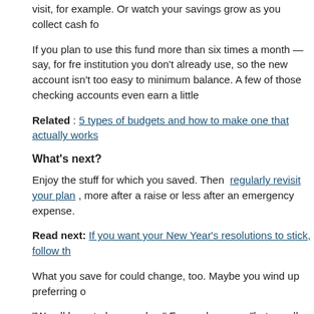visit, for example. Or watch your savings grow as you collect cash fo
If you plan to use this fund more than six times a month — say, for fre institution you don't already use, so the new account isn't too easy to minimum balance. A few of those checking accounts even earn a little
Related : 5 types of budgets and how to make one that actually works
What's next?
Enjoy the stuff for which you saved. Then regularly revisit your plan , more after a raise or less after an emergency expense.
Read next: If you want your New Year's resolutions to stick, follow th
What you save for could change, too. Maybe you wind up preferring o
“We all have to have a plan,” Fernandez says, “but we all have to upo
More From NerdWallet
Smart Money Podcast: Buying Your Dream House
5 Steps to Reach Your Money Goals in 2022
Would You Relocate for $10K? Should You?